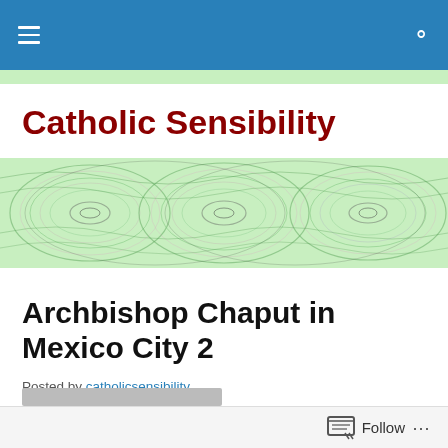Catholic Sensibility — navigation bar
Catholic Sensibility
[Figure (illustration): Decorative banner image with swirling interference pattern of colorful rings and waves on a light green background.]
Archbishop Chaput in Mexico City 2
Posted by catholicsensibility
Follow ...